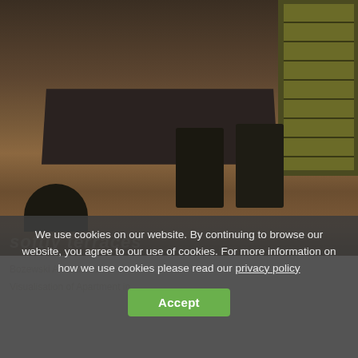[Figure (photo): Interior design photo showing a modern dining room with a large dark rectangular table, cantilever chairs with chrome frames, a sculptural black sofa, warm wood parquet flooring, and a green modular bookshelf unit on the right wall.]
softly terraces
Bozewski Amarables
Visualisation of Apartment in ...
We use cookies on our website. By continuing to browse our website, you agree to our use of cookies. For more information on how we use cookies please read our privacy policy